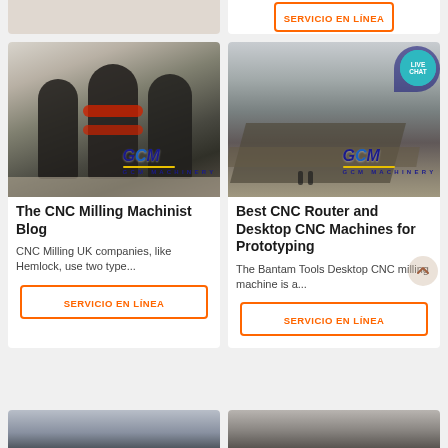[Figure (photo): Top-left partial card showing top edge of a machinery/industrial image]
[Figure (other): Top-right partial card with orange SERVICIO EN LÍNEA button]
[Figure (photo): CNC milling machines in industrial facility with GCM Machinery watermark]
The CNC Milling Machinist Blog
CNC Milling UK companies, like Hemlock, use two type...
SERVICIO EN LÍNEA
[Figure (photo): Quarry/mining conveyor belt operation with GCM Machinery watermark and LIVE CHAT badge]
Best CNC Router and Desktop CNC Machines for Prototyping
The Bantam Tools Desktop CNC milling machine is a...
SERVICIO EN LÍNEA
[Figure (photo): Bottom-left partial card showing industrial facility image]
[Figure (photo): Bottom-right partial card showing industrial facility image]